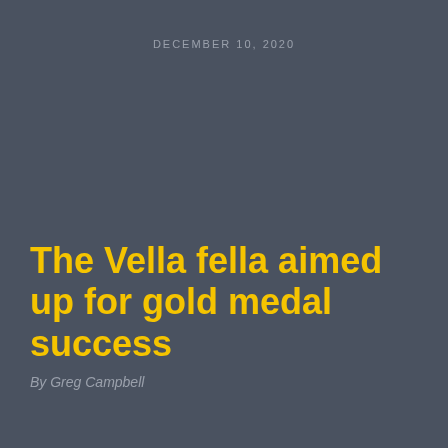DECEMBER 10, 2020
The Vella fella aimed up for gold medal success
By Greg Campbell